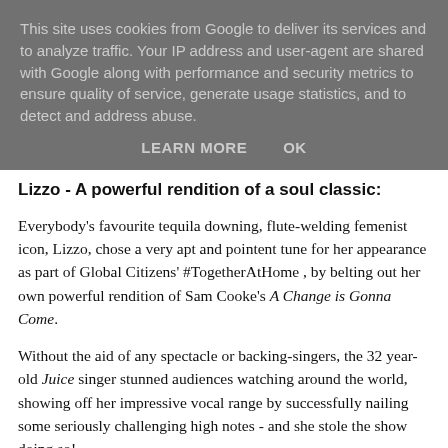This site uses cookies from Google to deliver its services and to analyze traffic. Your IP address and user-agent are shared with Google along with performance and security metrics to ensure quality of service, generate usage statistics, and to detect and address abuse.
LEARN MORE   OK
Lizzo - A powerful rendition of a soul classic:
Everybody's favourite tequila downing, flute-welding femenist icon, Lizzo, chose a very apt and pointent tune for her appearance as part of Global Citizens' #TogetherAtHome , by belting out her own powerful rendition of Sam Cooke's A Change is Gonna Come.
Without the aid of any spectacle or backing-singers, the 32 year-old Juice singer stunned audiences watching around the world, showing off her impressive vocal range by successfully nailing some seriously challenging high notes - and she stole the show doing so!